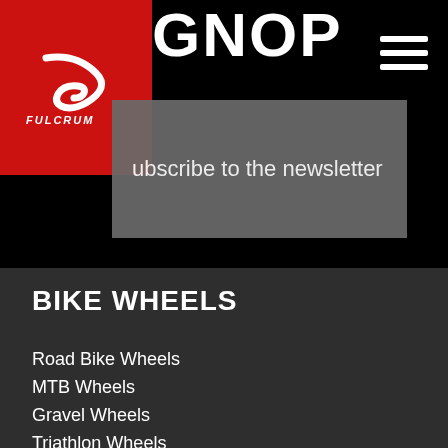[Figure (logo): Fulcrum brand logo — stylized 'F' lettermark in white on red background with 'FULCRUM' text below]
GNOP
[Figure (other): Hamburger menu icon — three horizontal white lines on black background]
ubscribe to the newsletter
BIKE WHEELS
Road Bike Wheels
MTB Wheels
Gravel Wheels
Triathlon Wheels